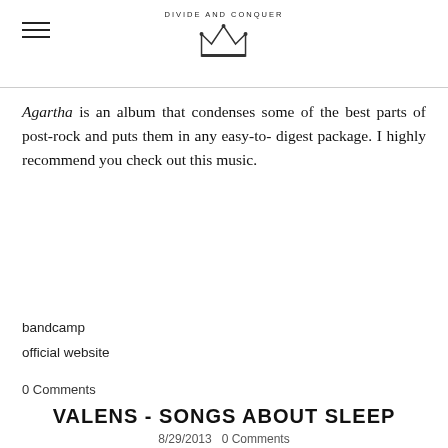DIVIDE AND CONQUER
Agartha is an album that condenses some of the best parts of post-rock and puts them in any easy-to- digest package. I highly recommend you check out this music.
bandcamp
official website
0 Comments
VALENS - SONGS ABOUT SLEEP
8/29/2013  0 Comments